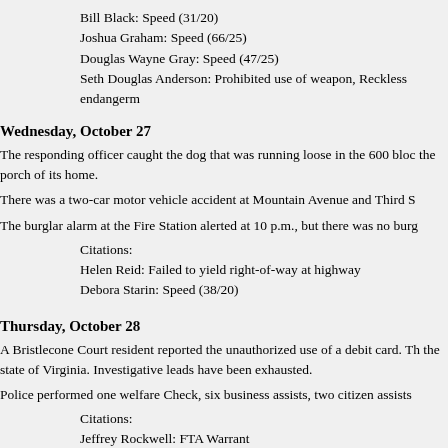Bill Black: Speed (31/20)
Joshua Graham: Speed (66/25)
Douglas Wayne Gray: Speed (47/25)
Seth Douglas Anderson: Prohibited use of weapon, Reckless endangerm
Wednesday, October 27
The responding officer caught the dog that was running loose in the 600 bloc the porch of its home.
There was a two-car motor vehicle accident at Mountain Avenue and Third S
The burglar alarm at the Fire Station alerted at 10 p.m., but there was no burg
Citations:
Helen Reid: Failed to yield right-of-way at highway
Debora Starin: Speed (38/20)
Thursday, October 28
A Bristlecone Court resident reported the unauthorized use of a debit card. Th the state of Virginia. Investigative leads have been exhausted.
Police performed one welfare Check, six business assists, two citizen assists
Citations:
Jeffrey Rockwell: FTA Warrant
Robert Ballinger, Jr.: Parked vehicle on wrong side of roadway